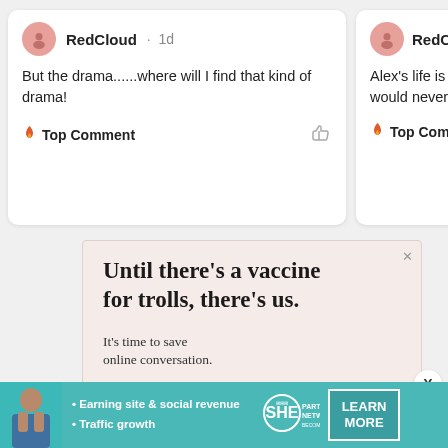RedCloud · 1d
But the drama......where will I find that kind of drama!
🔥 Top Comment
RedCupcake
Alex's life is all abo... would never rede...
🔥 Top Comment
[Figure (screenshot): Advertisement with light pink background. Headline: 'Until there's a vaccine for trolls, there's us.' Subtext: 'It's time to save online conversation.' Button: 'Learn more']
[Figure (infographic): Bottom teal banner advertisement: SHE Partner Network, 'Earning site & social revenue', 'Traffic growth', 'LEARN MORE' button]